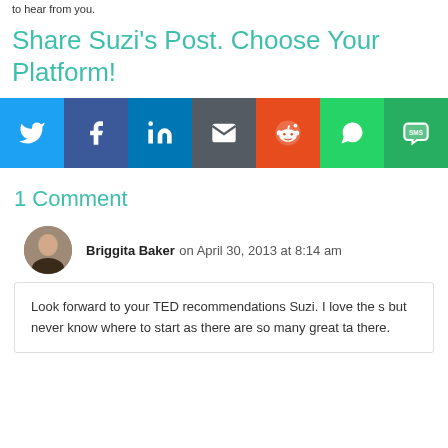to hear from you.
Share Suzi's Post. Choose Your Platform!
[Figure (other): Social share buttons: Twitter, Facebook, LinkedIn, Email, Reddit, WhatsApp, SMS]
1 Comment
Briggita Baker on April 30, 2013 at 8:14 am
Look forward to your TED recommendations Suzi. I love the s... but never know where to start as there are so many great ta... there.